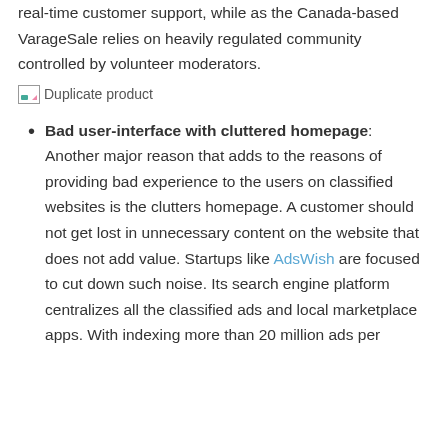real-time customer support, while as the Canada-based VarageSale relies on heavily regulated community controlled by volunteer moderators.
[Figure (photo): Duplicate product image placeholder]
Bad user-interface with cluttered homepage: Another major reason that adds to the reasons of providing bad experience to the users on classified websites is the clutters homepage. A customer should not get lost in unnecessary content on the website that does not add value. Startups like AdsWish are focused to cut down such noise. Its search engine platform centralizes all the classified ads and local marketplace apps. With indexing more than 20 million ads per